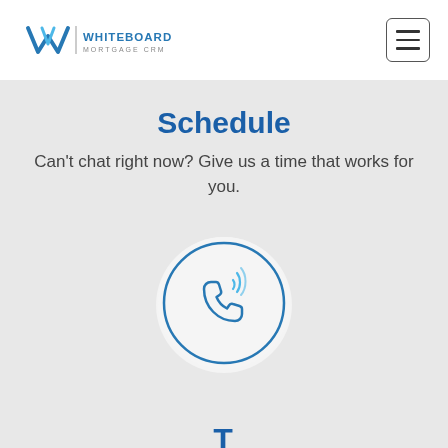[Figure (logo): Whiteboard Mortgage CRM logo with stylized W icon and text]
[Figure (other): Hamburger menu button with three horizontal lines inside a rounded rectangle border]
Schedule
Can't chat right now? Give us a time that works for you.
[Figure (illustration): Phone/call icon inside a white circular button on grey background, showing a telephone handset with signal waves]